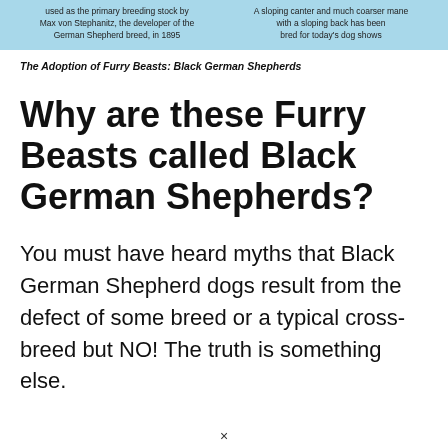used as the primary breeding stock by Max von Stephanitz, the developer of the German Shepherd breed, in 1895 | A sloping canter and much coarser mane with a sloping back has been bred for today's dog shows
The Adoption of Furry Beasts: Black German Shepherds
Why are these Furry Beasts called Black German Shepherds?
You must have heard myths that Black German Shepherd dogs result from the defect of some breed or a typical cross-breed but NO! The truth is something else.